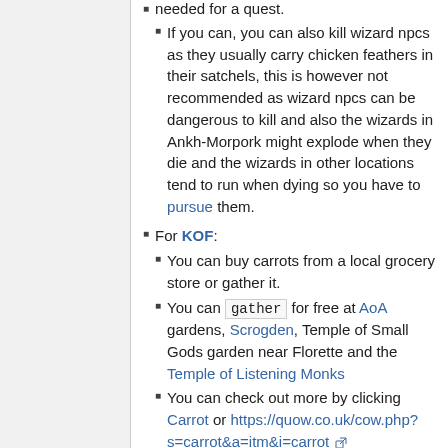If you can, you can also kill wizard npcs as they usually carry chicken feathers in their satchels, this is however not recommended as wizard npcs can be dangerous to kill and also the wizards in Ankh-Morpork might explode when they die and the wizards in other locations tend to run when dying so you have to pursue them.
For KOF:
You can buy carrots from a local grocery store or gather it.
You can gather for free at AoA gardens, Scrogden, Temple of Small Gods garden near Florette and the Temple of Listening Monks
You can check out more by clicking Carrot or https://quow.co.uk/cow.php?s=carrot&a=itm&i=carrot
For TPA:
Look at the ash page
You can usually get ashes by sweeping